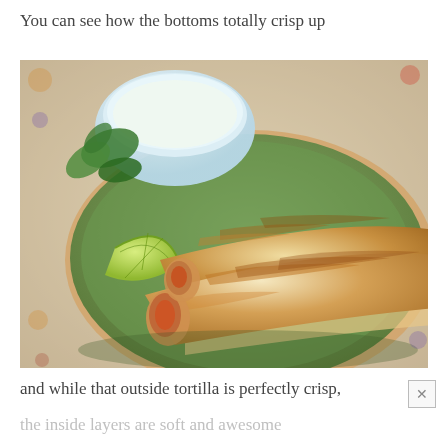You can see how the bottoms totally crisp up
[Figure (photo): Photo of crispy rolled tortillas (taquitos/flautas) on a decorative plate with a bowl of white dipping sauce, fresh cilantro, and a lime wedge]
and while that outside tortilla is perfectly crisp,
the inside layers are soft and awesome